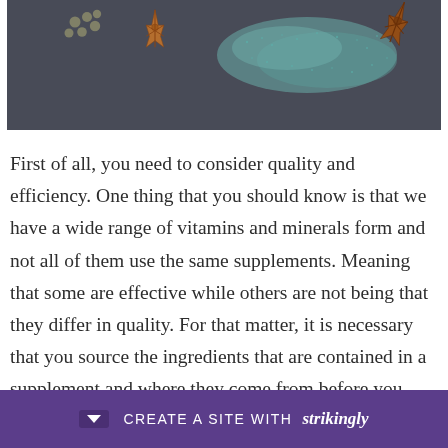[Figure (photo): Dark gray background with spices: star anise and scattered teal/green powder or seeds, with small round peppercorns, top portion of a spice flat-lay photo]
First of all, you need to consider quality and efficiency. One thing that you should know is that we have a wide range of vitamins and minerals form and not all of them use the same supplements. Meaning that some are effective while others are not being that they differ in quality. For that matter, it is necessary that you source the ingredients that are contained in a supplement and where they come from before you start using it. For instance, we have some ingredients ... xic
CREATE A SITE WITH strikingly